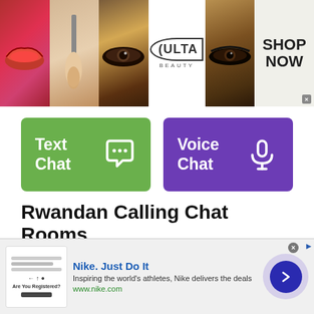[Figure (photo): Banner advertisement for ULTA Beauty featuring collage of makeup/beauty images including lips, brush, eye, ULTA logo, eye closeup, and SHOP NOW call to action]
[Figure (screenshot): Two chat option buttons: green 'Text Chat' button with speech bubble icon, and purple 'Voice Chat' button with microphone icon]
Rwandan Calling Chat Rooms
Rwandan Chat Rooms is one of the most popular chat sites in Rwanda. This is a free
[Figure (screenshot): Nike advertisement banner: Nike. Just Do It - Inspiring the world's athletes, Nike delivers the deals - www.nike.com - with arrow button]